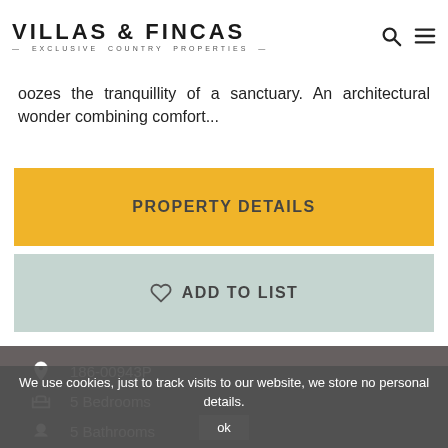VILLAS & FINCAS — EXCLUSIVE COUNTRY PROPERTIES
oozes the tranquillity of a sanctuary. An architectural wonder combining comfort...
PROPERTY DETAILS
♡ ADD TO LIST
186-00943P
5 Bedrooms
5 Bathrooms
852 m² Built
We use cookies, just to track visits to our website, we store no personal details. ok